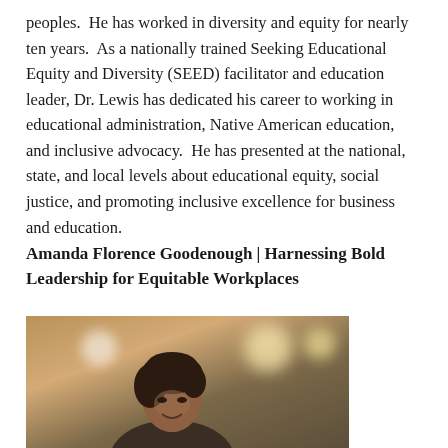peoples.  He has worked in diversity and equity for nearly ten years.  As a nationally trained Seeking Educational Equity and Diversity (SEED) facilitator and education leader, Dr. Lewis has dedicated his career to working in educational administration, Native American education, and inclusive advocacy.  He has presented at the national, state, and local levels about educational equity, social justice, and promoting inclusive excellence for business and education.
Amanda Florence Goodenough | Harnessing Bold Leadership for Equitable Workplaces
[Figure (photo): Portrait photo of Amanda Florence Goodenough, a woman with dark hair looking upward, photographed in a warm-toned indoor setting with bokeh lights in the background.]